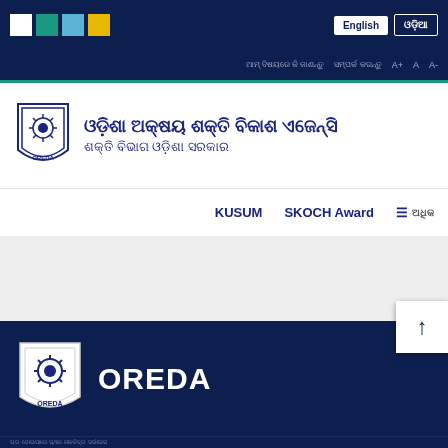[Figure (logo): OREDA color block logo squares: white, teal, blue, yellow]
English | ଓଡ଼ିଆ
ଓଡ଼ିଶା ଅକ୍ଷୟ ଶକ୍ତି ବିକାଶ ଏଜେନ୍ସି | ଶକ୍ତି ବିଭାଗ ଓଡ଼ିଶା ସରକାର
[Figure (logo): OREDA shield/badge logo with sun emblem]
ଓଡ଼ିଶା ଅକ୍ଷୟ ଶକ୍ତି ବିକାଶ ଏଜେନ୍ସି
ଶକ୍ତି ବିଭାଗ ଓଡ଼ିଶା ସରକାର
KUSUM   SKOCH Award   ☰ ଅଧିକ
[Figure (screenshot): Hero/banner section with light grey background]
[Figure (logo): OREDA footer shield/badge logo]
OREDA
Footer navigation links and address text